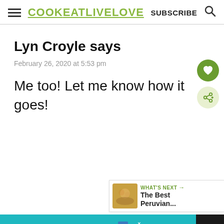COOK EAT LIVE LOVE | SUBSCRIBE
Lyn Croyle says
February 26, 2020 at 5:53 pm
Me too! Let me know how it goes!
WHAT'S NEXT → The Best Peruvian...
It's time to talk about Alzheimer's.  LEARN MORE